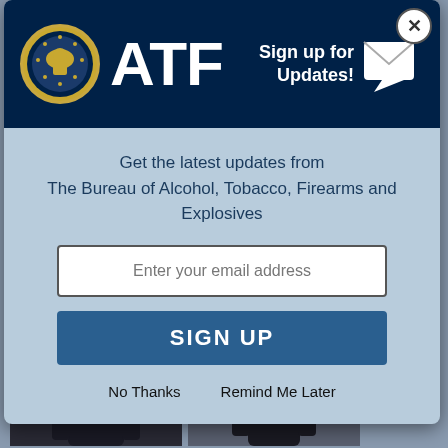[Figure (screenshot): ATF (Bureau of Alcohol, Tobacco, Firearms and Explosives) email signup modal overlay on a government webpage. Header shows ATF seal and logo on dark navy background with 'Sign up for Updates!' email icon. Modal body on light blue background has email input field, SIGN UP button, and 'No Thanks' / 'Remind Me Later' links. Behind modal: link to MN Transitions Charter School Person 1 (video available) and section for Person 2 with two surveillance photos.]
ATF — Sign up for Updates!
Get the latest updates from The Bureau of Alcohol, Tobacco, Firearms and Explosives
Enter your email address
SIGN UP
No Thanks    Remind Me Later
MN Transitions Charter School – Person 1 (video available)
MN Transitions Charter School – Person 2